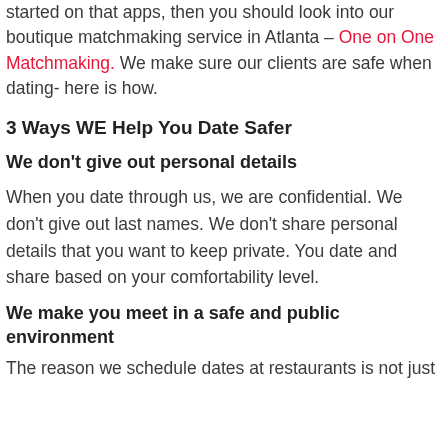started on that apps, then you should look into our boutique matchmaking service in Atlanta – One on One Matchmaking. We make sure our clients are safe when dating- here is how.
3 Ways WE Help You Date Safer
We don't give out personal details
When you date through us, we are confidential. We don't give out last names. We don't share personal details that you want to keep private. You date and share based on your comfortability level.
We make you meet in a safe and public environment
The reason we schedule dates at restaurants is not just